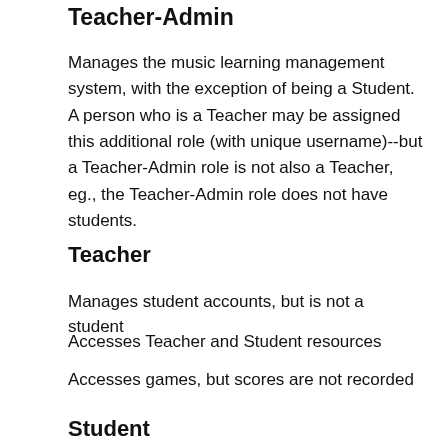Teacher-Admin
Manages the music learning management system, with the exception of being a Student. A person who is a Teacher may be assigned this additional role (with unique username)--but a Teacher-Admin role is not also a Teacher, eg., the Teacher-Admin role does not have students.
Teacher
Manages student accounts, but is not a student
Accesses Teacher and Student resources
Accesses games, but scores are not recorded
Student